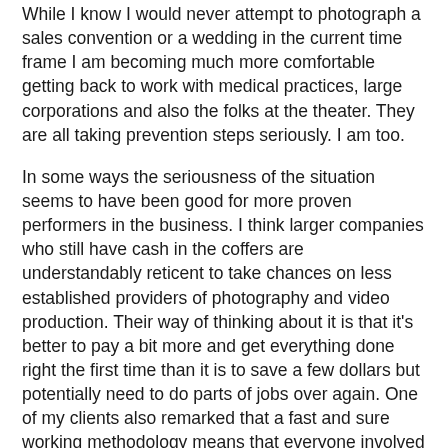While I know I would never attempt to photograph a sales convention or a wedding in the current time frame I am becoming much more comfortable getting back to work with medical practices, large corporations and also the folks at the theater. They are all taking prevention steps seriously. I am too.
In some ways the seriousness of the situation seems to have been good for more proven performers in the business. I think larger companies who still have cash in the coffers are understandably reticent to take chances on less established providers of photography and video production. Their way of thinking about it is that it's better to pay a bit more and get everything done right the first time than it is to save a few dollars but potentially need to do parts of jobs over again. One of my clients also remarked that a fast and sure working methodology means that everyone involved in an assignment has less overall exposure to each other and also that many parts of a project require less client supervision. That means more potential safety for everyone.
In the part of last week's shoots that involved photographing